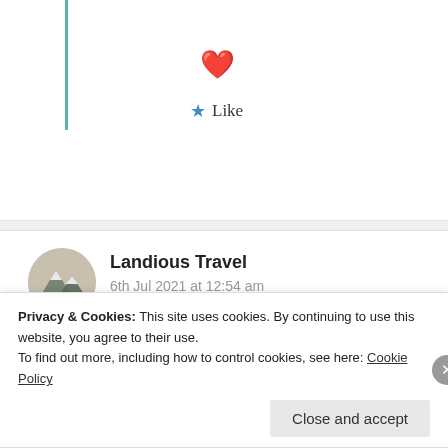[Figure (illustration): Red heart emoji displayed above a Like button]
Like
[Figure (photo): Circular avatar with mountain/pyramid illustration for Landious Travel]
Landious Travel
6th Jul 2021 at 12:54 am
I like the tone of your words. It is encouraging …
Liked by 1 person
Privacy & Cookies: This site uses cookies. By continuing to use this website, you agree to their use.
To find out more, including how to control cookies, see here: Cookie Policy
Close and accept